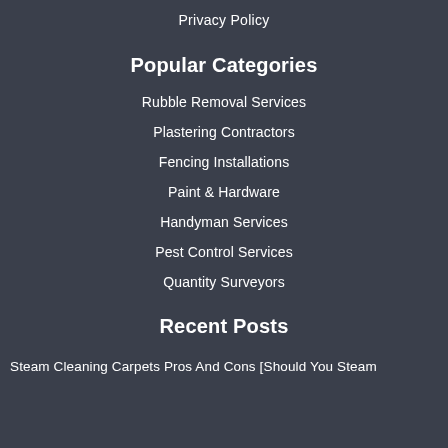Privacy Policy
Popular Categories
Rubble Removal Services
Plastering Contractors
Fencing Installations
Paint & Hardware
Handyman Services
Pest Control Services
Quantity Surveyors
Recent Posts
Steam Cleaning Carpets Pros And Cons [Should You Steam